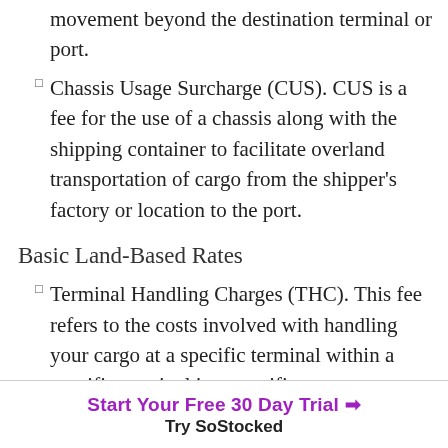movement beyond the destination terminal or port.
Chassis Usage Surcharge (CUS). CUS is a fee for the use of a chassis along with the shipping container to facilitate overland transportation of cargo from the shipper's factory or location to the port.
Basic Land-Based Rates
Terminal Handling Charges (THC). This fee refers to the costs involved with handling your cargo at a specific terminal within a specific terminal in a specific country.
Documentation Fee, i.e., the cost of processing important documents like Certificate of Origin,
Start Your Free 30 Day Trial → Try SoStocked